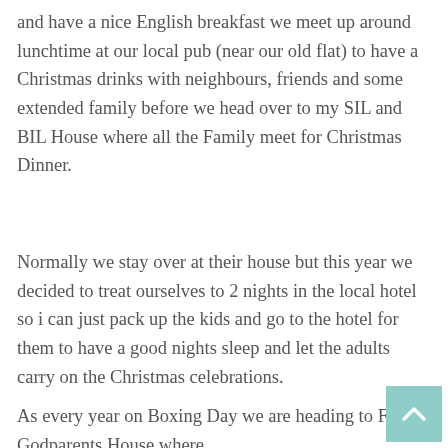and have a nice English breakfast we meet up around lunchtime at our local pub (near our old flat) to have a Christmas drinks with neighbours, friends and some extended family before we head over to my SIL and BIL House where all the Family meet for Christmas Dinner.
Normally we stay over at their house but this year we decided to treat ourselves to 2 nights in the local hotel so i can just pack up the kids and go to the hotel for them to have a good nights sleep and let the adults carry on the Christmas celebrations.
As every year on Boxing Day we are heading to Finn's Godparents House where